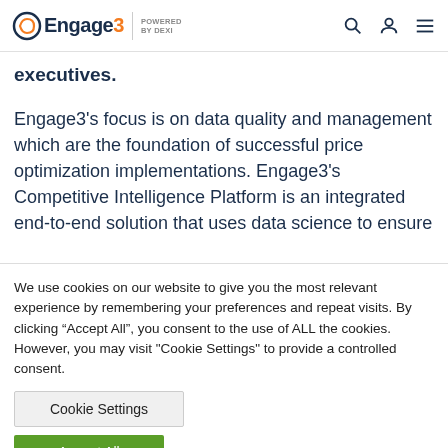Engage3 POWERED BY DEXI
executives.
Engage3’s focus is on data quality and management which are the foundation of successful price optimization implementations. Engage3’s Competitive Intelligence Platform is an integrated end-to-end solution that uses data science to ensure
We use cookies on our website to give you the most relevant experience by remembering your preferences and repeat visits. By clicking “Accept All”, you consent to the use of ALL the cookies. However, you may visit "Cookie Settings" to provide a controlled consent.
Cookie Settings
Accept All